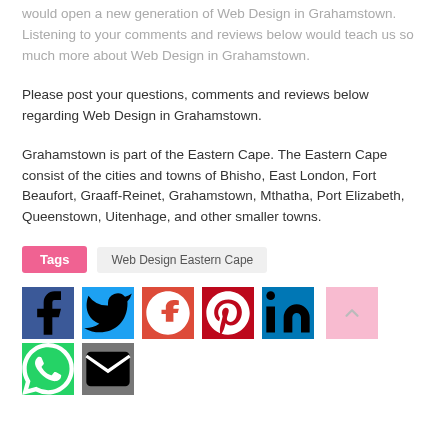would open a new generation of Web Design in Grahamstown. Listening to your comments and reviews below would teach us so much more about Web Design in Grahamstown.
Please post your questions, comments and reviews below regarding Web Design in Grahamstown.
Grahamstown is part of the Eastern Cape. The Eastern Cape consist of the cities and towns of Bhisho, East London, Fort Beaufort, Graaff-Reinet, Grahamstown, Mthatha, Port Elizabeth, Queenstown, Uitenhage, and other smaller towns.
Tags  Web Design Eastern Cape
[Figure (infographic): Social media share buttons: Facebook (dark blue), Twitter (light blue), Google+ (red-orange), Pinterest (dark red), LinkedIn (blue), WhatsApp (green), Email (gray), and a scroll-to-top button (pink)]